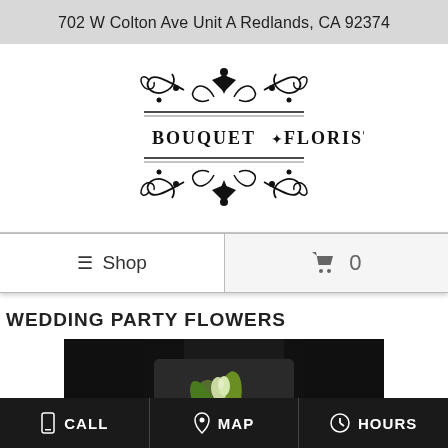702 W Colton Ave Unit A Redlands, CA 92374
[Figure (logo): Bouquet Florist ornate logo with scrollwork and the text BOUQUET FLORIST]
≡ Shop
🛒 0
WEDDING PARTY FLOWERS
[Figure (photo): Close-up photo of a boutonniere or small floral arrangement on a dark suit jacket, featuring green foliage]
CALL   MAP   HOURS